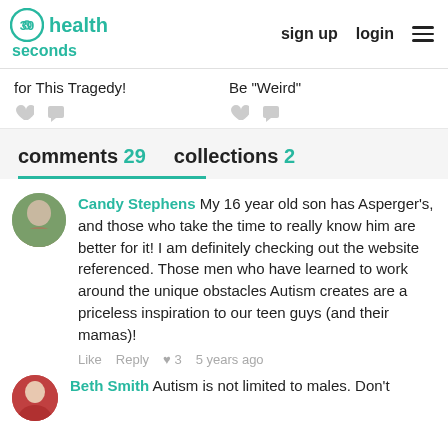30seconds health | sign up  login
for This Tragedy!
Be "Weird"
comments 29   collections 2
Candy Stephens  My 16 year old son has Asperger's, and those who take the time to really know him are better for it! I am definitely checking out the website referenced. Those men who have learned to work around the unique obstacles Autism creates are a priceless inspiration to our teen guys (and their mamas)!
Like  Reply  ♥ 3  5 years ago
Beth Smith  Autism is not limited to males. Don't